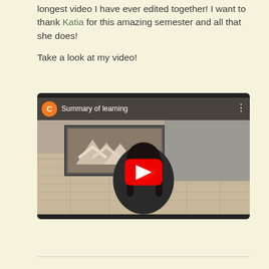longest video I have ever edited together! I want to thank Katia for this amazing semester and all that she does!

Take a look at my video!
[Figure (screenshot): YouTube video embed showing a person with long dark hair sitting in front of a wooden wall art piece. The video is titled 'Summary of learning' with an orange channel avatar showing 'C'. A red YouTube play button is centered on the thumbnail.]